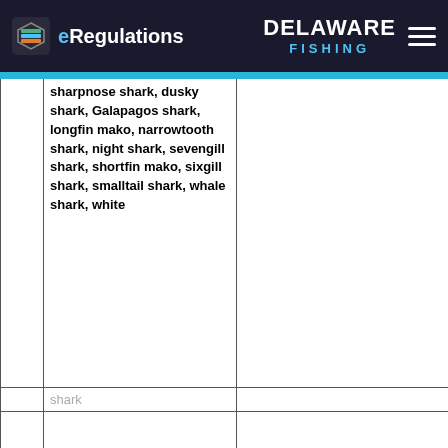eRegulations — DELAWARE FISHING
|  | sharpnose shark, dusky shark, Galapagos shark, longfin mako, narrowtooth shark, night shark, sevengill shark, shortfin mako, sixgill shark, smalltail shark, whale shark, white |  |
|  | shark |  |
|  |  |  |